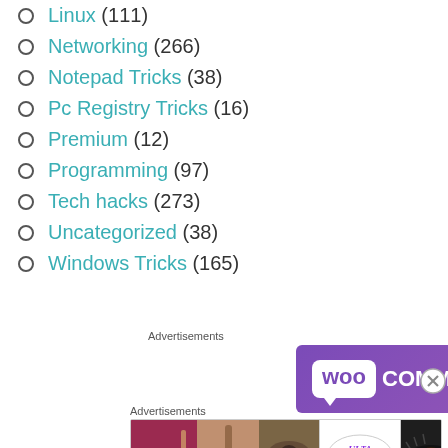Linux (111)
Networking (266)
Notepad Tricks (38)
Pc Registry Tricks (16)
Premium (12)
Programming (97)
Tech hacks (273)
Uncategorized (38)
Windows Tricks (165)
Advertisements
[Figure (illustration): WooCommerce advertisement banner with purple gradient background and WooCommerce logo]
Advertisements
[Figure (illustration): Ulta Beauty advertisement banner showing cosmetics/makeup images with SHOP NOW text]